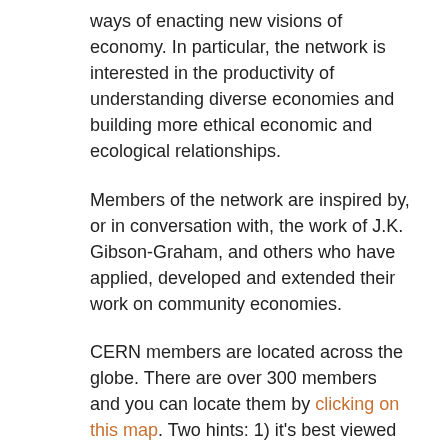ways of enacting new visions of economy. In particular, the network is interested in the productivity of understanding diverse economies and building more ethical economic and ecological relationships.
Members of the network are inspired by, or in conversation with, the work of J.K. Gibson-Graham, and others who have applied, developed and extended their work on community economies.
CERN members are located across the globe. There are over 300 members and you can locate them by clicking on this map. Two hints: 1) it's best viewed on a desktop or laptop; 2) zoom in - a lot! (in some places you'll need to go down to the street level to see all the members at that location).
CERN Liviana